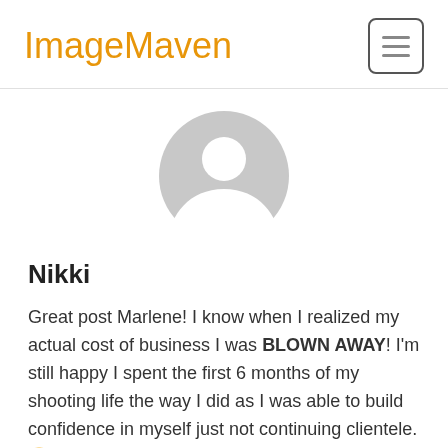ImageMaven
[Figure (illustration): Generic user avatar placeholder — grey circle with white silhouette of a person (head and shoulders)]
Nikki
Great post Marlene! I know when I realized my actual cost of business I was BLOWN AWAY! I'm still happy I spent the first 6 months of my shooting life the way I did as I was able to build confidence in myself just not continuing clientele. 🙂